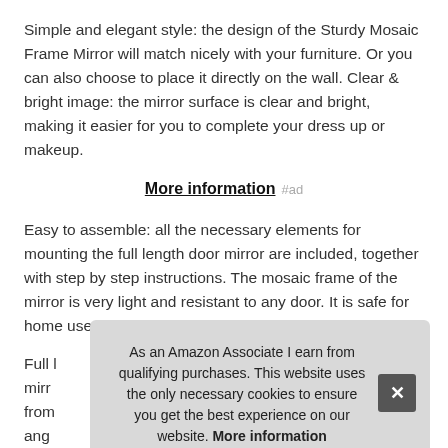Simple and elegant style: the design of the Sturdy Mosaic Frame Mirror will match nicely with your furniture. Or you can also choose to place it directly on the wall. Clear & bright image: the mirror surface is clear and bright, making it easier for you to complete your dress up or makeup.
More information #ad
Easy to assemble: all the necessary elements for mounting the full length door mirror are included, together with step by step instructions. The mosaic frame of the mirror is very light and resistant to any door. It is safe for home use.
Full [partially obscured text about mirror]
As an Amazon Associate I earn from qualifying purchases. This website uses the only necessary cookies to ensure you get the best experience on our website. More information
or often use makeup. Hangs over doors and walls: our full